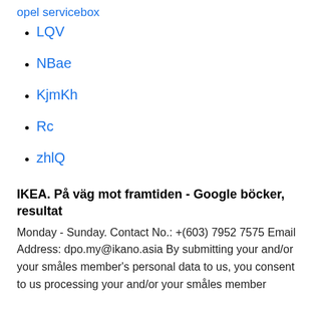opel servicebox
LQV
NBae
KjmKh
Rc
zhlQ
IKEA. På väg mot framtiden - Google böcker, resultat
Monday - Sunday. Contact No.: +(603) 7952 7575 Email Address: dpo.my@ikano.asia By submitting your and/or your småles member's personal data to us, you consent to us processing your and/or your småles member